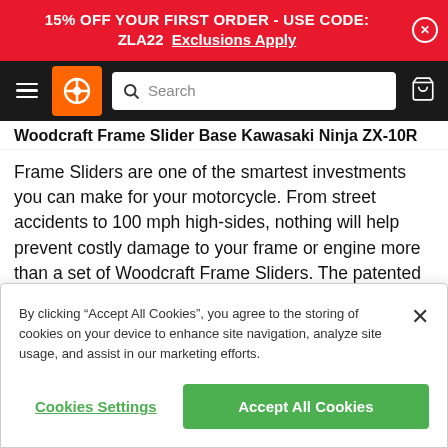15% OFF YOUR FIRST ORDER - USE CODE: ZLA22  Exclusions Apply
[Figure (screenshot): Navigation bar with hamburger menu, orange logo, search bar, and cart icon]
Woodcraft Frame Slider Base Kawasaki Ninja ZX-10R
Frame Sliders are one of the smartest investments you can make for your motorcycle. From street accidents to 100 mph high-sides, nothing will help prevent costly damage to your frame or engine more than a set of Woodcraft Frame Sliders. The patented 2-piece slider design makes them the most durable sliders on the
By clicking “Accept All Cookies”, you agree to the storing of cookies on your device to enhance site navigation, analyze site usage, and assist in our marketing efforts.
Cookies Settings
Accept All Cookies